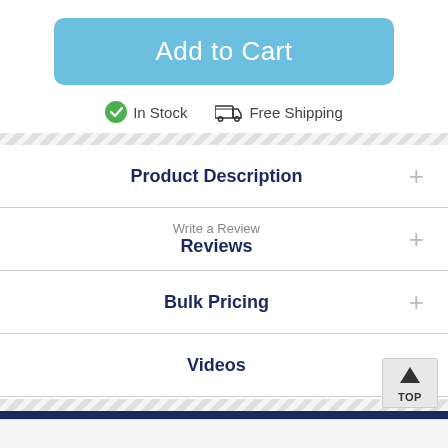Add to Cart
✓ In Stock   🚚 Free Shipping
Product Description
Write a Review
Reviews
Bulk Pricing
Videos
YOU MAY ALSO LIKE